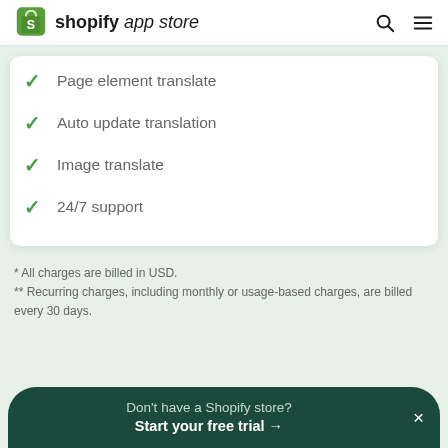shopify app store
Page element translate
Auto update translation
Image translate
24/7 support
* All charges are billed in USD.
** Recurring charges, including monthly or usage-based charges, are billed every 30 days.
Don't have a Shopify store? Start your free trial →